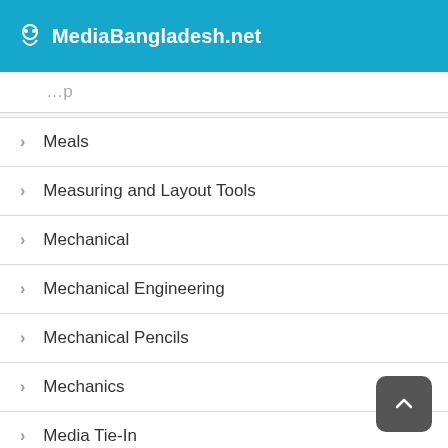MediaBangladesh.net
Meals
Measuring and Layout Tools
Mechanical
Mechanical Engineering
Mechanical Pencils
Mechanics
Media Tie-In
Media Tie-Ins
Medical